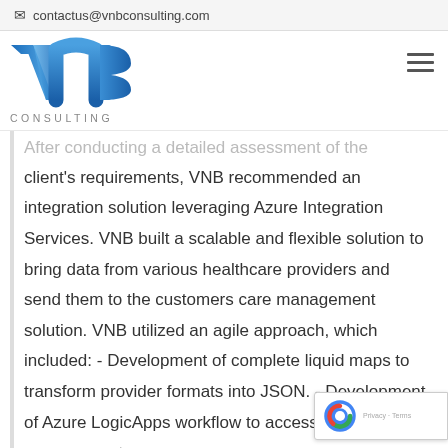contactus@vnbconsulting.com
[Figure (logo): VNB Consulting logo with stylized blue V, N, B letters and CONSULTING text below]
After conducting a detailed assessment of the client's requirements, VNB recommended an integration solution leveraging Azure Integration Services. VNB built a scalable and flexible solution to bring data from various healthcare providers and send them to the customers care management solution. VNB utilized an agile approach, which included: - Development of complete liquid maps to transform provider formats into JSON. - Development of Azure LogicApps workflow to access care management